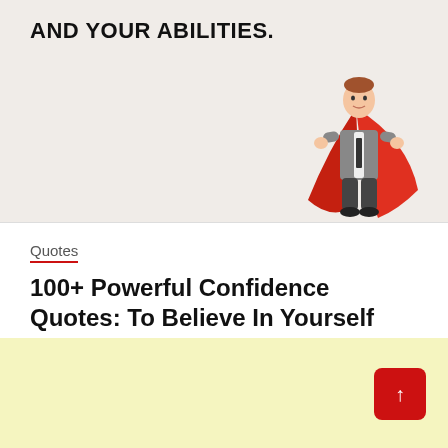[Figure (illustration): Hero image with text 'AND YOUR ABILITIES.' in bold black text on a light beige/gray background, with a cartoon illustration of a man in a business suit wearing a red cape (superhero) on the right side.]
Quotes
100+ Powerful Confidence Quotes: To Believe In Yourself
February 13, 2022  sudiproy877